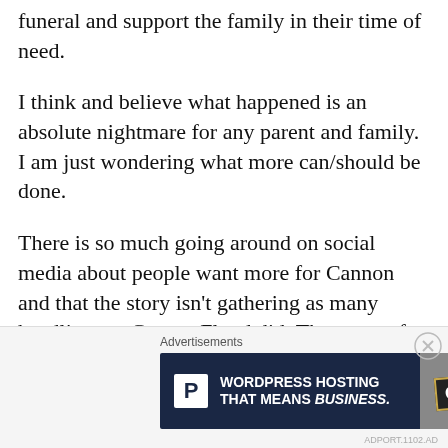funeral and support the family in their time of need.
I think and believe what happened is an absolute nightmare for any parent and family. I am just wondering what more can/should be done.
There is so much going around on social media about people want more for Cannon and that the story isn't gathering as many headlines as George Floyd did. The reason for this is because Cannon's murderer was arrested and will be charged in court. He will most likely spend the remainder of his life in prison and the family is receiving donations from around the world.
Advertisements
[Figure (other): Advertisement banner for WordPress Hosting with text 'WORDPRESS HOSTING THAT MEANS BUSINESS.' and an OPEN sign image on the right.]